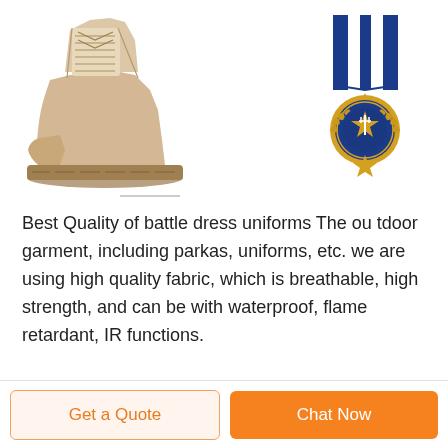[Figure (photo): A tan/beige military combat boot (desert boot) with laces, shown from the side]
[Figure (photo): A military medal with blue and white striped ribbon and a gold star/wreath medallion with dark blue enamel center]
Best Quality of battle dress uniforms The ou tdoor garment, including parkas, uniforms, etc. we are using high quality fabric, which is breathable, high strength, and can be with waterproof, flame retardant, IR functions.
Get a Quote
Chat Now